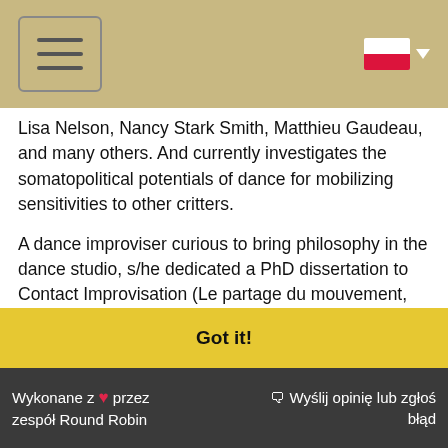[Hamburger menu icon] [Polish flag with dropdown]
Lisa Nelson, Nancy Stark Smith, Matthieu Gaudeau, and many others. And currently investigates the somatopolitical potentials of dance for mobilizing sensitivities to other critters.
A dance improviser curious to bring philosophy in the dance studio, s/he dedicated a PhD dissertation to Contact Improvisation (Le partage du mouvement, École Normale supérieure, 2017) which also led to curating performances of improvisation, for the Musée de la danse in Rennes in 2018 and Steve Paxton: Drafting Interior Techniques co-curated with Joaõ Fiadeiro for Culturgest in Lisbon
This website uses cookies to ensure you get the best experience on our website. Learn more
Got it!
Wykonane z ♥ przez zespół Round Robin   🗨 Wyślij opinię lub zgłoś błąd